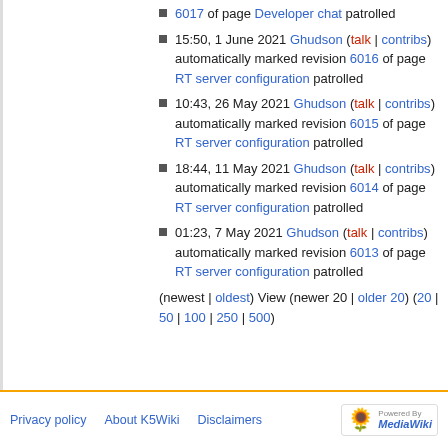6017 of page Developer chat patrolled
15:50, 1 June 2021 Ghudson (talk | contribs) automatically marked revision 6016 of page RT server configuration patrolled
10:43, 26 May 2021 Ghudson (talk | contribs) automatically marked revision 6015 of page RT server configuration patrolled
18:44, 11 May 2021 Ghudson (talk | contribs) automatically marked revision 6014 of page RT server configuration patrolled
01:23, 7 May 2021 Ghudson (talk | contribs) automatically marked revision 6013 of page RT server configuration patrolled
(newest | oldest) View (newer 20 | older 20) (20 | 50 | 100 | 250 | 500)
Privacy policy   About K5Wiki   Disclaimers   Powered by MediaWiki